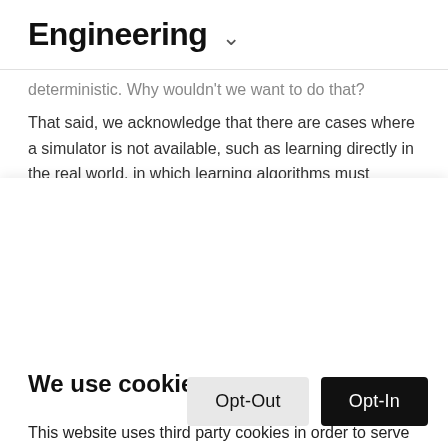Engineering ▾
deterministic. Why wouldn't we want to do that?
That said, we acknowledge that there are cases where a simulator is not available, such as learning directly in the real world, in which learning algorithms must confront stochasticity during training. As we note in our original
We use cookies
This website uses third party cookies in order to serve you relevant ads on other websites. Learn more by visiting our Cookie Statement, or opt out of third party ad cookies using the button below.
Opt-Out
Opt-In